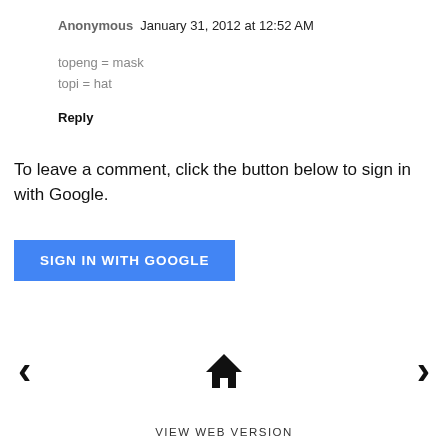Anonymous  January 31, 2012 at 12:52 AM
topeng = mask
topi = hat
Reply
To leave a comment, click the button below to sign in with Google.
SIGN IN WITH GOOGLE
[Figure (other): Navigation bar with left arrow, home icon, and right arrow]
VIEW WEB VERSION